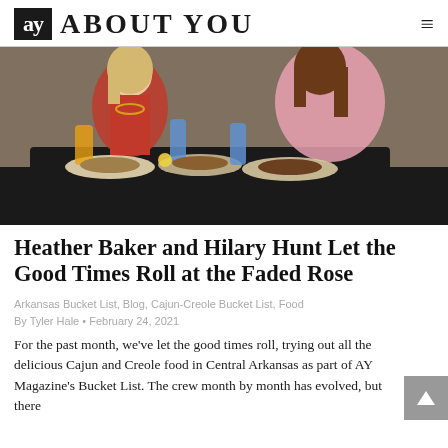ay ABOUT YOU
[Figure (photo): Two women sitting at a restaurant table with multiple plates of Cajun food and drinks. One woman wears a red top, the other a pink sweater. Brick wall background.]
Heather Baker and Hilary Hunt Let the Good Times Roll at the Faded Rose
Arkansas Bucket List, Blog, Cajun-Creole Bucket List, Food
By Tyler Hale • February 24, 2021
For the past month, we've let the good times roll, trying out all the delicious Cajun and Creole food in Central Arkansas as part of AY Magazine's Bucket List. The crew month by month has evolved, but there